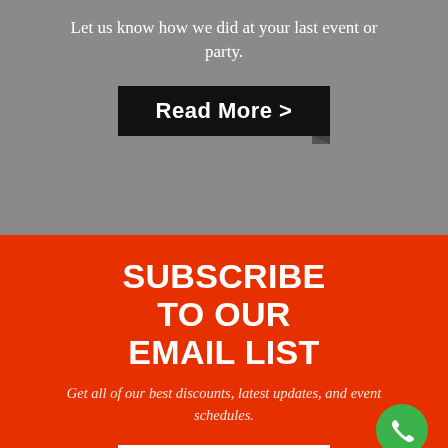Let us know how we did at your last event or party.
[Figure (other): Black button with white bold text 'Read More >']
SUBSCRIBE TO OUR EMAIL LIST
Get all of our best discounts, latest updates, and event schedules.
[Figure (other): White button with black bold text 'Read More >']
[Figure (other): Green circular phone/call button icon]